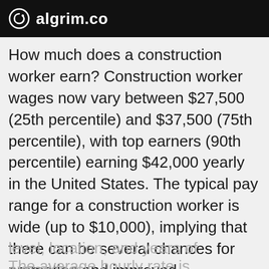algrim.co
How much does a construction worker earn? Construction worker wages now vary between $27,500 (25th percentile) and $37,500 (75th percentile), with top earners (90th percentile) earning $42,000 yearly in the United States. The typical pay range for a construction worker is wide (up to $10,000), implying that there can be several chances for promotion and improved compensation based on skill
level, location, and years of experience.
The average hourly rate is anywhere from